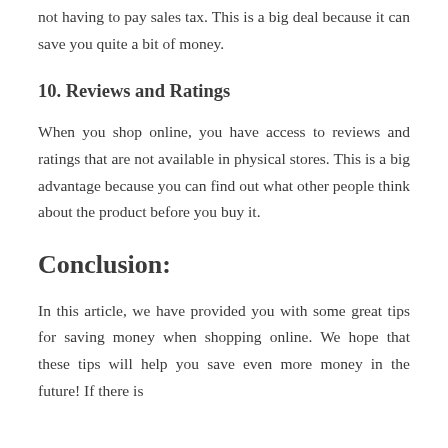not having to pay sales tax. This is a big deal because it can save you quite a bit of money.
10. Reviews and Ratings
When you shop online, you have access to reviews and ratings that are not available in physical stores. This is a big advantage because you can find out what other people think about the product before you buy it.
Conclusion:
In this article, we have provided you with some great tips for saving money when shopping online. We hope that these tips will help you save even more money in the future! If there is